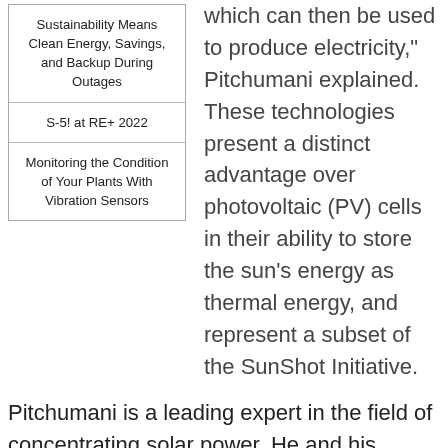Sustainability Means Clean Energy, Savings, and Backup During Outages
S-5! at RE+ 2022
Monitoring the Condition of Your Plants With Vibration Sensors
which can then be used to produce electricity," Pitchumani explained. These technologies present a distinct advantage over photovoltaic (PV) cells in their ability to store the sun's energy as thermal energy, and represent a subset of the SunShot Initiative.
Pitchumani is a leading expert in the field of concentrating solar power. He and his research group at Virginia Tech have developed novel thermal energy storage technologies for concentrating solar power applications that are widely published. He is the overall conference chair